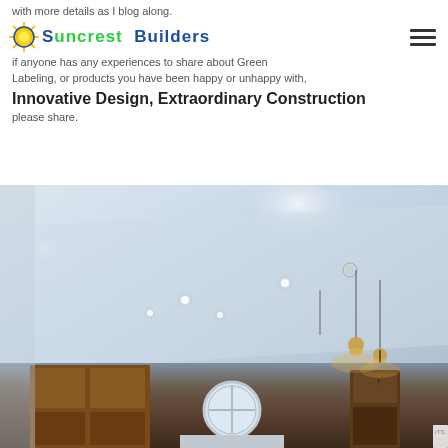with more details as I blog along.
Suncrest Builders — Innovative Design, Extraordinary Construction
if anyone has any experiences to share about Green Labeling, or products you have been happy or unhappy with, please share.
[Figure (photo): Interior photo of a newly constructed home showing a vaulted ceiling with recessed lighting, a circular window, pendant lights over a kitchen island, and wood cabinetry.]